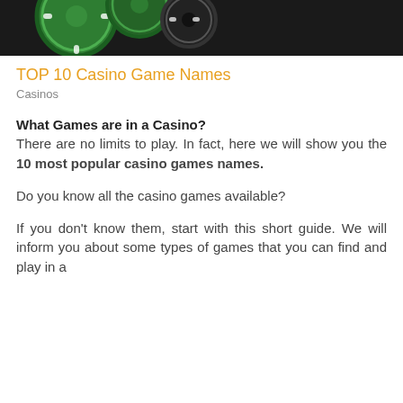[Figure (photo): Casino chips (green and black) on a dark background, top portion visible]
TOP 10 Casino Game Names
Casinos
What Games are in a Casino?
There are no limits to play. In fact, here we will show you the 10 most popular casino games names.
Do you know all the casino games available?
If you don't know them, start with this short guide. We will inform you about some types of games that you can find and play in a